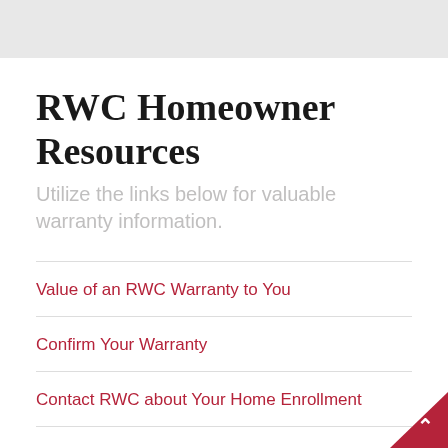RWC Homeowner Resources
Utilize the links below for valuable warranty information.
Value of an RWC Warranty to You
Confirm Your Warranty
Contact RWC about Your Home Enrollment